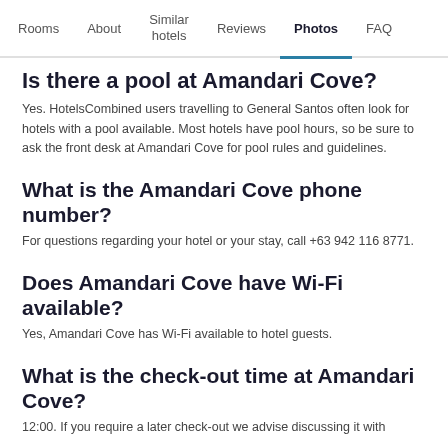Rooms  About  Similar hotels  Reviews  Photos  FAQ
Is there a pool at Amandari Cove?
Yes. HotelsCombined users travelling to General Santos often look for hotels with a pool available. Most hotels have pool hours, so be sure to ask the front desk at Amandari Cove for pool rules and guidelines.
What is the Amandari Cove phone number?
For questions regarding your hotel or your stay, call +63 942 116 8771.
Does Amandari Cove have Wi-Fi available?
Yes, Amandari Cove has Wi-Fi available to hotel guests.
What is the check-out time at Amandari Cove?
12:00. If you require a later check-out we advise discussing it with